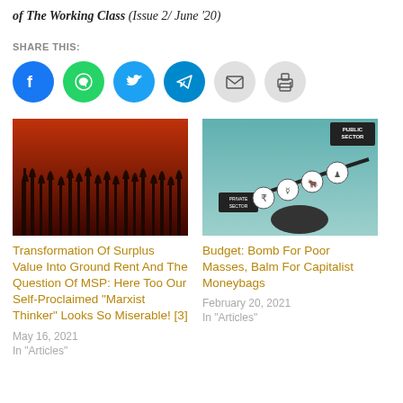of The Working Class (Issue 2/ June '20)
SHARE THIS:
[Figure (infographic): Six social sharing icon buttons: Facebook (blue), WhatsApp (green), Twitter (light blue), Telegram (dark blue), Email (grey), Print (grey)]
[Figure (photo): Red and black image of crop silhouettes against a dark red sky]
Transformation Of Surplus Value Into Ground Rent And The Question Of MSP: Here Too Our Self-Proclaimed "Marxist Thinker" Looks So Miserable! [3]
May 16, 2021
In "Articles"
[Figure (photo): Teal background image showing a balance scale with coins/icons labeled Private Sector and Public Sector]
Budget: Bomb For Poor Masses, Balm For Capitalist Moneybags
February 20, 2021
In "Articles"